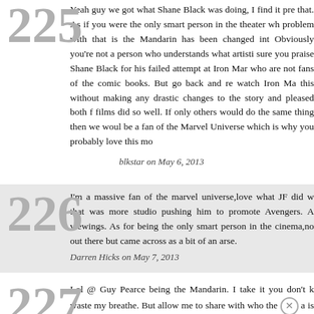225 Yeah guy we got what Shane Black was doing, I find it pre that. As if you were the only smart person in the theater wh problem with that is the Mandarin has been changed int Obviously you're not a person who understands what artisti sure you praise Shane Black for his failed attempt at Iron Mar who are not fans of the comic books. But go back and re watch Iron Ma this without making any drastic changes to the story and pleased both f films did so well. If only others would do the same thing then we woul be a fan of the Marvel Universe which is why you probably love this mo
blkstar on May 6, 2013
226 I'm a massive fan of the marvel universe,love what JF did w that was more studio pushing him to promote Avengers. A viewings. As for being the only smart person in the cinema,no out there but came across as a bit of an arse.
Darren Hicks on May 7, 2013
227 Lol @ Guy Pearce being the Mandarin. I take it you don't k waste my breathe. But allow me to share with who the is a master of Martial Arts and because of his training his bo rock. The Mandarin is also a master of chi energy to make hi and feet to make his punches and kicks more powerful. Ri makluan rings(he can now mentally generate these powers since th